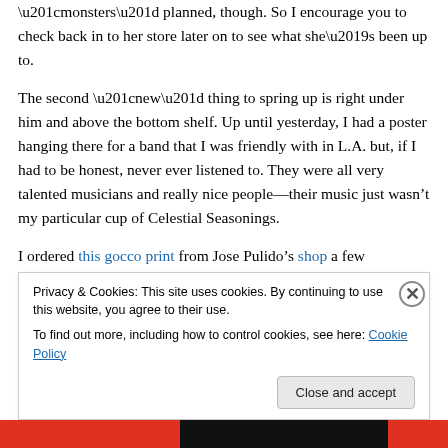“monsters” planned, though. So I encourage you to check back in to her store later on to see what she’s been up to.
The second “new” thing to spring up is right under him and above the bottom shelf. Up until yesterday, I had a poster hanging there for a band that I was friendly with in L.A. but, if I had to be honest, never ever listened to. They were all very talented musicians and really nice people—their music just wasn’t my particular cup of Celestial Seasonings.
I ordered this gocco print from Jose Pulido’s shop a few
Privacy & Cookies: This site uses cookies. By continuing to use this website, you agree to their use.
To find out more, including how to control cookies, see here: Cookie Policy
Close and accept